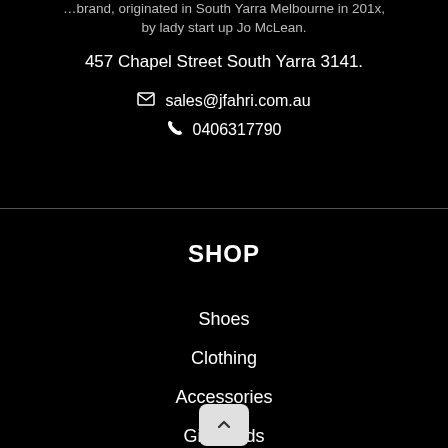by lady start up Jo McLean.
457 Chapel Street South Yarra 3141.
sales@jfahri.com.au
0406317790
SHOP
Shoes
Clothing
Accessories
Gift Cards